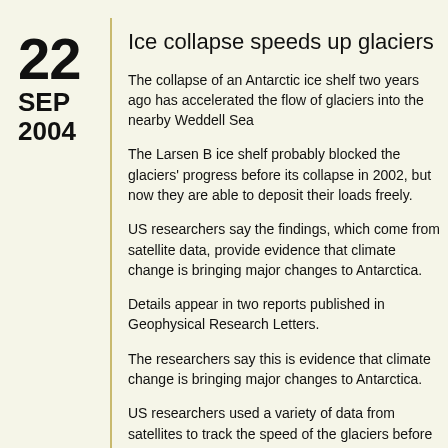22 SEP 2004
Ice collapse speeds up glaciers
The collapse of an Antarctic ice shelf two years ago has accelerated the flow of glaciers into the nearby Weddell Sea
The Larsen B ice shelf probably blocked the glaciers' progress before its collapse in 2002, but now they are able to deposit their loads freely.
US researchers say the findings, which come from satellite data, provide evidence that climate change is bringing major changes to Antarctica.
Details appear in two reports published in Geophysical Research Letters.
The researchers say this is evidence that climate change is bringing major changes to Antarctica.
US researchers used a variety of data from satellites to track the speed of the glaciers before and after the collapse of Larsen B.
In one study, Ted Scambos of the National Snow and Ice Data Center in Boulder, US, analysed five images taken by the Landsat 7 satellite between January 2000 and February 2003.
The analysis reveals that four glaciers flowing into the now colla...